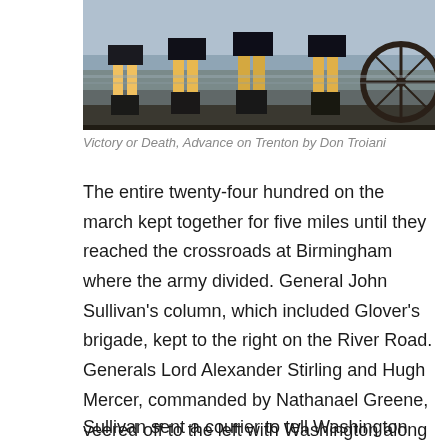[Figure (illustration): Painting showing Revolutionary War soldiers marching in the snow, partial view of soldiers' legs and a cannon wheel, from the painting 'Victory or Death, Advance on Trenton' by Don Troiani]
Victory or Death, Advance on Trenton by Don Troiani
The entire twenty-four hundred on the march kept together for five miles until they reached the crossroads at Birmingham where the army divided. General John Sullivan's column, which included Glover's brigade, kept to the right on the River Road. Generals Lord Alexander Stirling and Hugh Mercer, commanded by Nathanael Greene, veered off to the left with Washington along the Pennington Road. The distance to Trenton was four miles either way.
Sullivan sent a courier to tell Washington that the